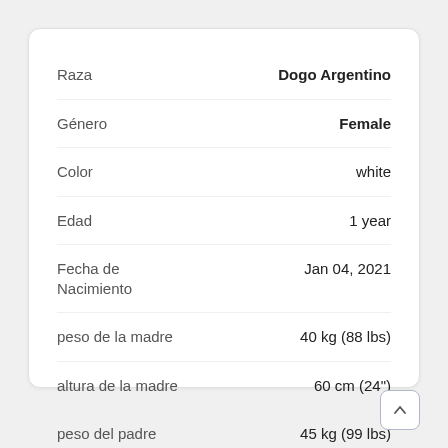| Campo | Valor |
| --- | --- |
| Raza | Dogo Argentino |
| Género | Female |
| Color | white |
| Edad | 1 year |
| Fecha de Nacimiento | Jan 04, 2021 |
| peso de la madre | 40 kg (88 lbs) |
| altura de la madre | 60 cm (24") |
| peso del padre | 45 kg (99 lbs) |